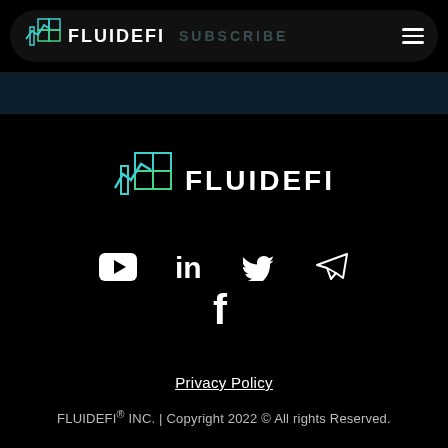[Figure (logo): FLUIDEFI logo in navigation bar with teal/green icon and white bold text FLUIDEFI, with faded SUBSCRIBE text and hamburger menu]
[Figure (logo): FLUIDEFI large centered logo with teal/green geometric icon and white bold text FLUIDEFI]
[Figure (infographic): Social media icons row: YouTube, LinkedIn, Twitter, Telegram (top row) and Facebook (bottom row), all white on black background]
Privacy Policy
FLUIDEFI® INC. | Copyright 2022 © All rights Reserved.